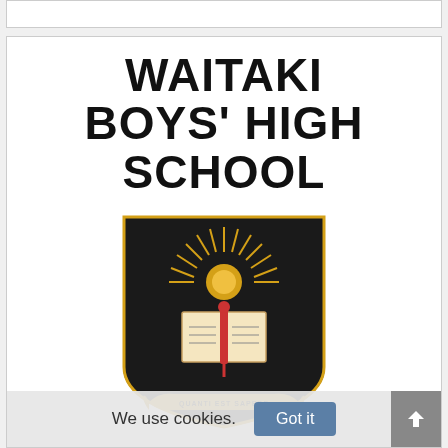[Figure (logo): Waitaki Boys' High School logo with school name in bold black text and school crest shield featuring an open book with sunburst above it and scroll banner reading QUANTI EST SAPERE at the bottom]
We use cookies.
Got it